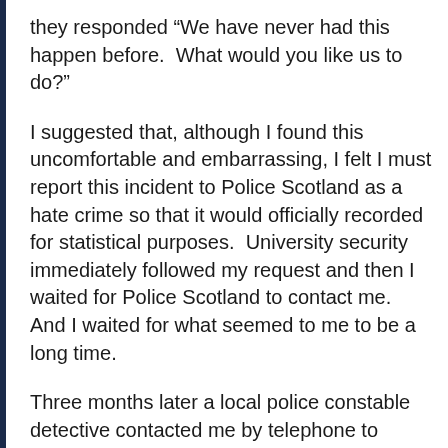they responded “We have never had this happen before.  What would you like us to do?”
I suggested that, although I found this uncomfortable and embarrassing, I felt I must report this incident to Police Scotland as a hate crime so that it would officially recorded for statistical purposes.  University security immediately followed my request and then I waited for Police Scotland to contact me.  And I waited for what seemed to me to be a long time.
Three months later a local police constable detective contacted me by telephone to arrange a meeting.  I asked that he notify me before he arrived so that I could arrange a private meeting room in order to not draw public attention to this issue.